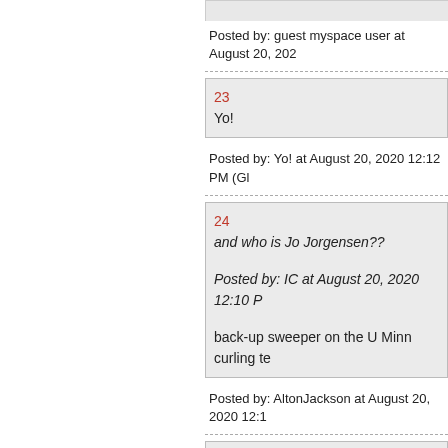Posted by: guest myspace user at August 20, 2020
23
Yo!
Posted by: Yo! at August 20, 2020 12:12 PM (Gl
24
and who is Jo Jorgensen??

Posted by: IC at August 20, 2020 12:10 P...

back-up sweeper on the U Minn curling te
Posted by: AltonJackson at August 20, 2020 12:1
25 TJM is not first.
Posted by: WitchDoktor, back to no one g (2BgZB)

5 not first
Posted by: TheJamesMadison, in a madho PM (UWqZJ)